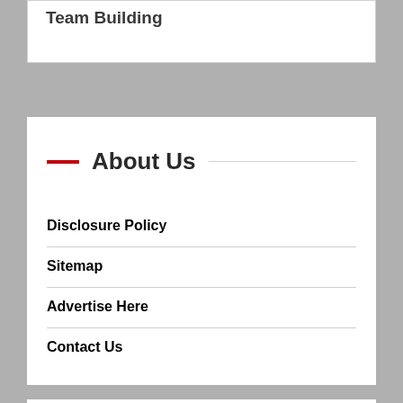Team Building
About Us
Disclosure Policy
Sitemap
Advertise Here
Contact Us
[Figure (other): Red back-to-top button with upward chevron arrow]